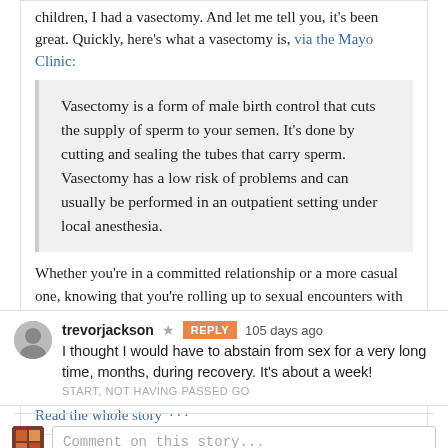children, I had a vasectomy. And let me tell you, it's been great. Quickly, here's what a vasectomy is, via the Mayo Clinic:
Vasectomy is a form of male birth control that cuts the supply of sperm to your semen. It's done by cutting and sealing the tubes that carry sperm. Vasectomy has a low risk of problems and can usually be performed in an outpatient setting under local anesthesia.
Whether you're in a committed relationship or a more casual one, knowing that you're rolling up to sexual encounters with the birth control handled is a really good feeling for everyone concerned.1 Women have typically (and unfairly) had to be the responsible ones about birth control, in large part because it's ultimately their body, health, and well-being
Read the whole story · · ·
trevorjackson
105 days ago
I thought I would have to abstain from sex for a very long time, months, during recovery. It's about a week!
START, NOT HAVING PASSED GO
Comment on this story...